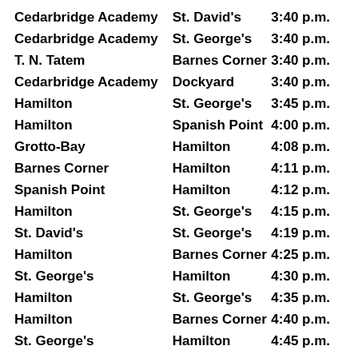| Cedarbridge Academy | St. David's | 3:40 p.m. |
| Cedarbridge Academy | St. George's | 3:40 p.m. |
| T. N. Tatem | Barnes Corner | 3:40 p.m. |
| Cedarbridge Academy | Dockyard | 3:40 p.m. |
| Hamilton | St. George's | 3:45 p.m. |
| Hamilton | Spanish Point | 4:00 p.m. |
| Grotto-Bay | Hamilton | 4:08 p.m. |
| Barnes Corner | Hamilton | 4:11 p.m. |
| Spanish Point | Hamilton | 4:12 p.m. |
| Hamilton | St. George's | 4:15 p.m. |
| St. David's | St. George's | 4:19 p.m. |
| Hamilton | Barnes Corner | 4:25 p.m. |
| St. George's | Hamilton | 4:30 p.m. |
| Hamilton | St. George's | 4:35 p.m. |
| Hamilton | Barnes Corner | 4:40 p.m. |
| St. George's | Hamilton | 4:45 p.m. |